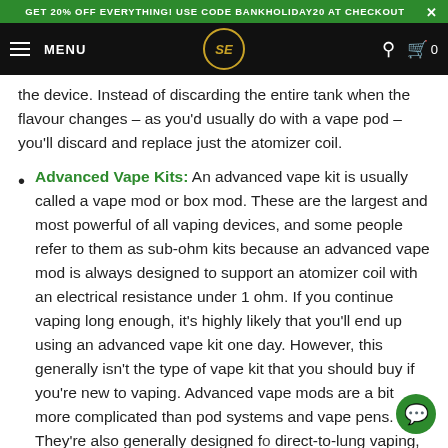GET 20% OFF EVERYTHING! USE CODE BANKHOLIDAY20 AT CHECKOUT ×
MENU [logo SE] [search] [cart] 0
the device. Instead of discarding the entire tank when the flavour changes – as you'd usually do with a vape pod – you'll discard and replace just the atomizer coil.
Advanced Vape Kits: An advanced vape kit is usually called a vape mod or box mod. These are the largest and most powerful of all vaping devices, and some people refer to them as sub-ohm kits because an advanced vape mod is always designed to support an atomizer coil with an electrical resistance under 1 ohm. If you continue vaping long enough, it's highly likely that you'll end up using an advanced vape kit one day. However, this generally isn't the type of vape kit that you should buy if you're new to vaping. Advanced vape mods are a bit more complicated than pod systems and vape pens. They're also generally designed for direct-to-lung vaping, which is probably not the inhaling